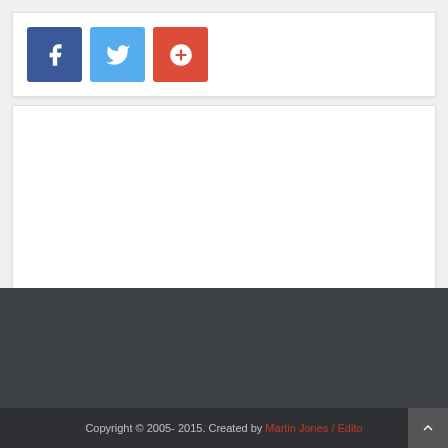[Figure (other): Three social media share buttons: Facebook (blue), Twitter (light blue), Google+ (red-orange), each with white icon]
[Figure (other): Empty white content card area]
[Figure (other): Dark gray footer background area]
Copyright © 2005- 2015. Created by Martin Jones / Edito